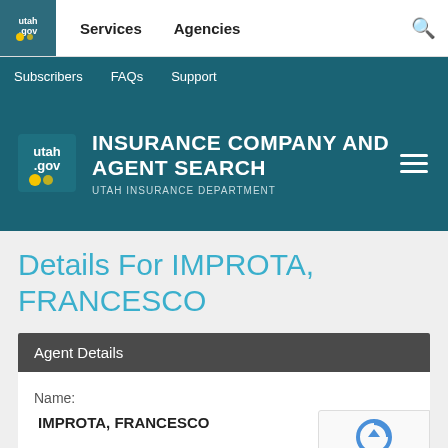utah.gov | Services | Agencies
Subscribers | FAQs | Support
INSURANCE COMPANY AND AGENT SEARCH
UTAH INSURANCE DEPARTMENT
Details For IMPROTA, FRANCESCO
Agent Details
Name:
IMPROTA, FRANCESCO